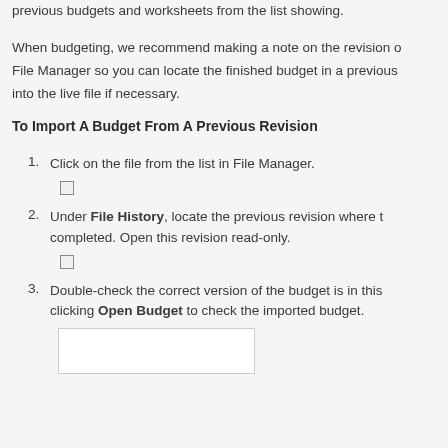previous budgets and worksheets from the list showing.
When budgeting, we recommend making a note on the revision on File Manager so you can locate the finished budget in a previous into the live file if necessary.
To Import A Budget From A Previous Revision
1. Click on the file from the list in File Manager.
2. Under File History, locate the previous revision where completed. Open this revision read-only.
3. Double-check the correct version of the budget is in this clicking Open Budget to check the imported budget.
[Figure (screenshot): Screenshot placeholder box at the bottom of the page]